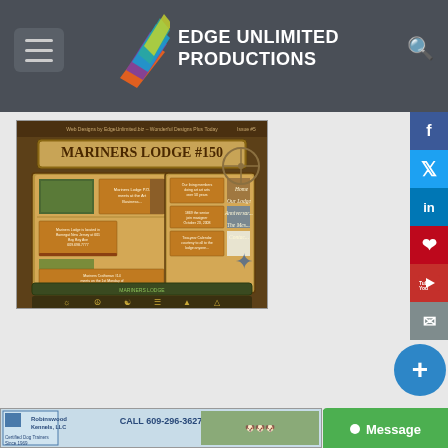EDGE UNLIMITED PRODUCTIONS
[Figure (screenshot): Mariners Lodge #150 website screenshot showing lodge website with navigation, news columns, and Masonic imagery on aged parchment background]
[Figure (screenshot): Robinswood Kennels advertisement - CALL 609-296-3627, Certified Dog Trainers Since 1969, with photo of dogs]